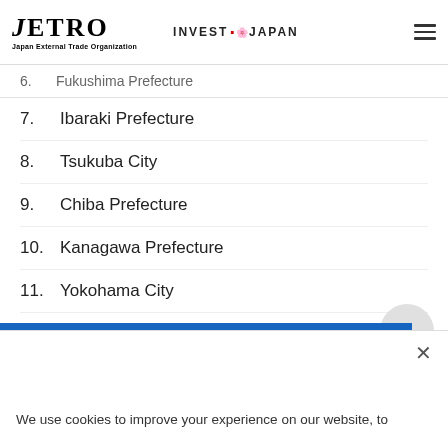JETRO - Japan External Trade Organization | INVEST JAPAN
6. Fukushima Prefecture
7. Ibaraki Prefecture
8. Tsukuba City
9. Chiba Prefecture
10. Kanagawa Prefecture
11. Yokohama City
12. Komoro City
13. Aichi Prefecture
14. Nagoya City
We use cookies to improve your experience on our website, to